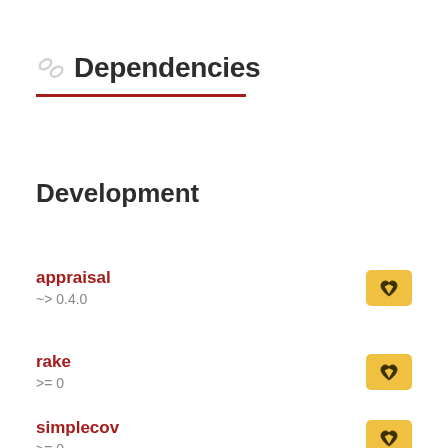Dependencies
Development
appraisal ~> 0.4.0
rake >= 0
simplecov >= 0